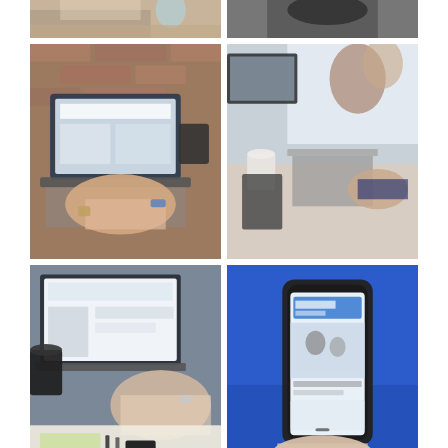[Figure (photo): Partial view of person at desk with laptop, hand visible, blue bottle in background]
[Figure (photo): Partial view of person wearing headphones, dark background]
[Figure (photo): Person typing on laptop with brick wall background, warm tones, coffee cup visible]
[Figure (photo): Two people at a meeting table with laptops, notebooks and coffee cups]
[Figure (photo): Person working on laptop with dark coffee cup, papers and stationery on desk]
[Figure (photo): Hand holding smartphone showing social media feed, blue fabric background]
[Figure (photo): Partial bottom view of laptop on desk]
[Figure (photo): Partial bottom view of meeting or group work scene]